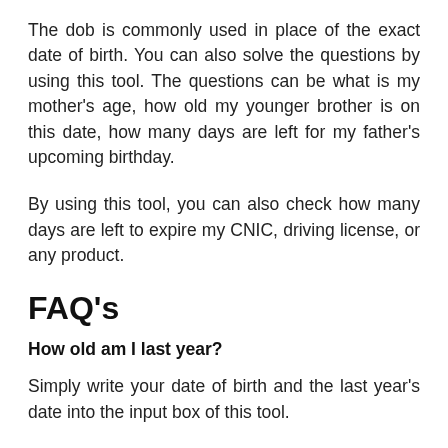The dob is commonly used in place of the exact date of birth. You can also solve the questions by using this tool. The questions can be what is my mother's age, how old my younger brother is on this date, how many days are left for my father's upcoming birthday.
By using this tool, you can also check how many days are left to expire my CNIC, driving license, or any product.
FAQ's
How old am I last year?
Simply write your date of birth and the last year's date into the input box of this tool.